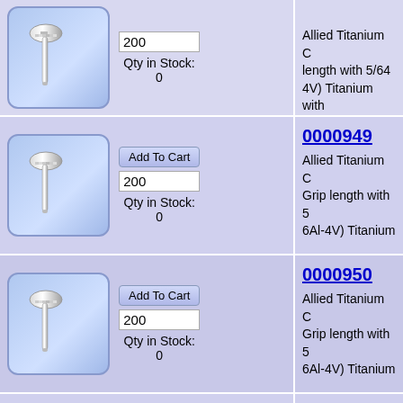[Figure (photo): Titanium bolt/screw product image in blue rounded square]
200
Qty in Stock:
0
Allied Titanium C length with 5/64 4V) Titanium with
[Figure (photo): Titanium bolt/screw product image in blue rounded square]
Add To Cart
200
Qty in Stock:
0
0000949
Allied Titanium C Grip length with 5 6Al-4V) Titanium
[Figure (photo): Titanium bolt/screw product image in blue rounded square]
Add To Cart
200
Qty in Stock:
0
0000950
Allied Titanium C Grip length with 5 6Al-4V) Titanium
[Figure (photo): Titanium bolt/screw product image in blue rounded square]
Add To Cart
200
Qty in Stock:
0
0000951
Allied Titanium C Grip length with 5 6Al-4V) Titanium
[Figure (photo): Titanium bolt/screw product image in blue rounded square]
Add To Cart
200
Qty in Stock:
0000952
Allied Titanium C Grip length with 5 6Al-4V) Titanium